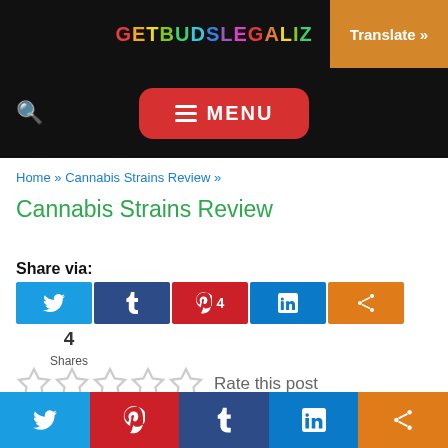GETBUDSLEGALI... | Translate »
[Figure (screenshot): Navigation bar with search icon and red MENU button on black background]
Home » Cannabis Strains Review »
Cannabis Strains Review
Share via:
[Figure (infographic): Social share buttons: Twitter, Tumblr, Pinterest (4), LinkedIn, Share. 4 Shares total.]
Rate this post
Twitter | Pinterest | Tumblr | LinkedIn | Share — bottom bar